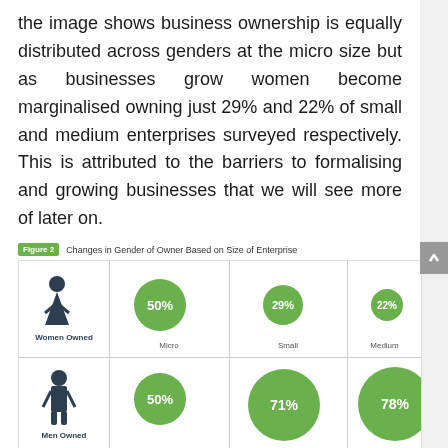the image shows business ownership is equally distributed across genders at the micro size but as businesses grow women become marginalised owning just 29% and 22% of small and medium enterprises surveyed respectively. This is attributed to the barriers to formalising and growing businesses that we will see more of later on.
Figure 2  Changes in Gender of Owner Based on Size of Enterprise
[Figure (infographic): Bubble chart showing Women Owned vs Men Owned percentages across Micro, Small, and Medium enterprise sizes. Women Owned: Micro 50%, Small 29%, Medium 22%. Men Owned: Micro 50%, Small 71%, Medium 78%.]